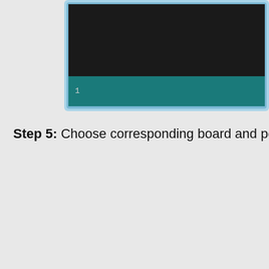[Figure (screenshot): Arduino IDE code editor window showing a dark black background editor area at top and a teal/dark cyan toolbar area below with line number '1' visible. The window has a light blue border frame around it. Only the bottom portion of the IDE window is visible, cropped at top.]
Step 5: Choose corresponding board and port fo